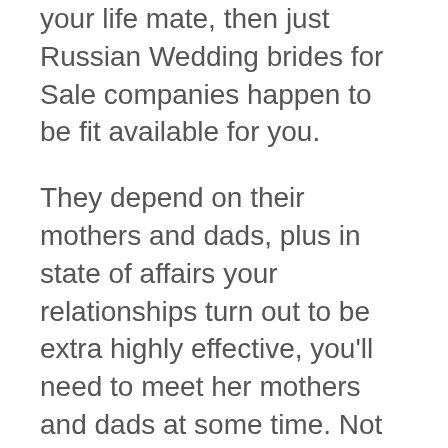your life mate, then just Russian Wedding brides for Sale companies happen to be fit available for you.
They depend on their mothers and dads, plus in state of affairs your relationships turn out to be extra highly effective, you'll need to meet her mothers and dads at some time. Not everyone desires to satisfy a romantic date out of this area solely since they're extremely lovely. Family life calls for having an clever and attention-grabbing companion, and you could think about yourself a fortunate man should you wish to buy a European lady for marriage. Ladies out of this area are extremely interesting to keep in touch with, helping to make them interlocutors which might be fantastic. This could be essentially the most definitive